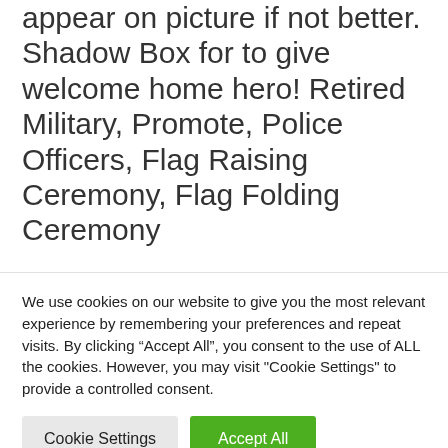appear on picture if not better. Shadow Box for to give welcome home hero! Retired Military, Promote, Police Officers, Flag Raising Ceremony, Flag Folding Ceremony
Flag Case and certificate holder for overseas mission in IRAQ, Afghanistan all honored missions Military. Police. DoD
We use cookies on our website to give you the most relevant experience by remembering your preferences and repeat visits. By clicking “Accept All”, you consent to the use of ALL the cookies. However, you may visit "Cookie Settings" to provide a controlled consent.